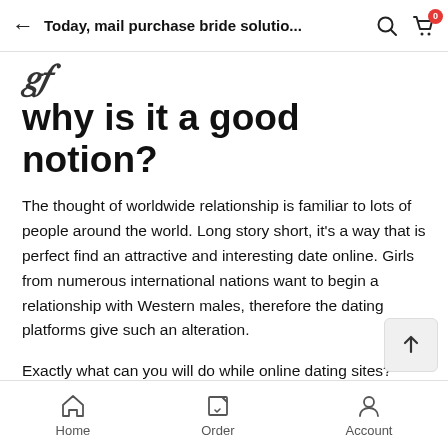Today, mail purchase bride solutio…
why is it a good notion?
The thought of worldwide relationship is familiar to lots of people around the world. Long story short, it's a way that is perfect find an attractive and interesting date online. Girls from numerous international nations want to begin a relationship with Western males, therefore the dating platforms give such an alteration.
Exactly what can you will do while online dating sites? Talk, flirt, utilize video clip calls and talk to your girlfriend that is foreign within tools. Overseas online dating sites provide a good possibility to have long-distance relationship with the need to finish it with a wedding – you simply have
Home   Order   Account